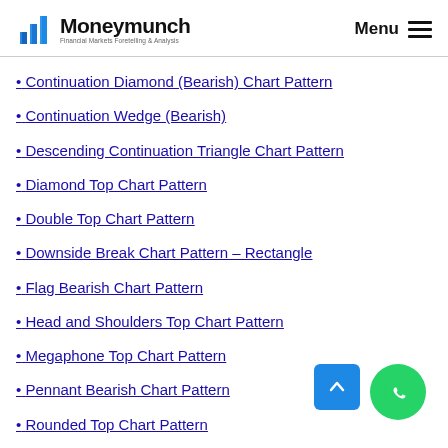Moneymunch — Financial Markets Foretelling & Analysis | Menu
• Continuation Diamond (Bearish) Chart Pattern
• Continuation Wedge (Bearish)
• Descending Continuation Triangle Chart Pattern
• Diamond Top Chart Pattern
• Double Top Chart Pattern
• Downside Break Chart Pattern – Rectangle
• Flag Bearish Chart Pattern
• Head and Shoulders Top Chart Pattern
• Megaphone Top Chart Pattern
• Pennant Bearish Chart Pattern
• Rounded Top Chart Pattern
• Symmetrical Continuation Triangle (Bearish)
• Top Triangle/Wedge Chart Pattern